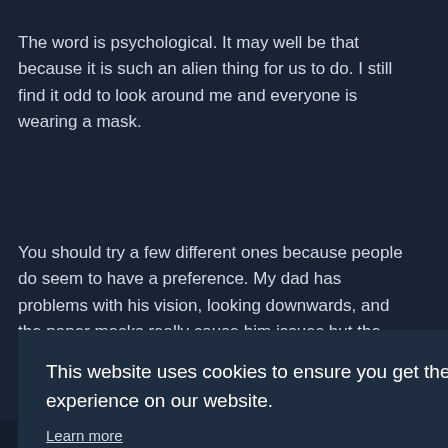The word is psychological. It may well be that because it is such an alien thing for us to do. I still find it odd to look around me and everyone is wearing a mask.
You should try a few different ones because people do seem to have a preference. My dad has problems with his vision, looking downwards, and the paper masks really cause him issues but the fabric masks
This website uses cookies to ensure you get the best experience on our website.
Learn more
Decline
Allow cookies